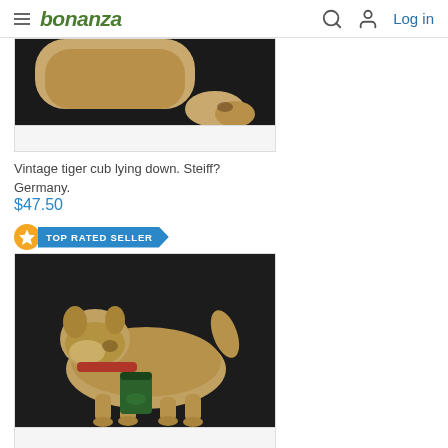bonanza  Log in
[Figure (photo): Partial view of a vintage tiger cub stuffed animal lying on dark background]
Vintage tiger cub lying down. Steiff? Germany.
$47.50
TOP RATED SELLER
[Figure (photo): Vintage stuffed dog toy (terrier) with red collar standing on dark leather surface, with a green can beside it]